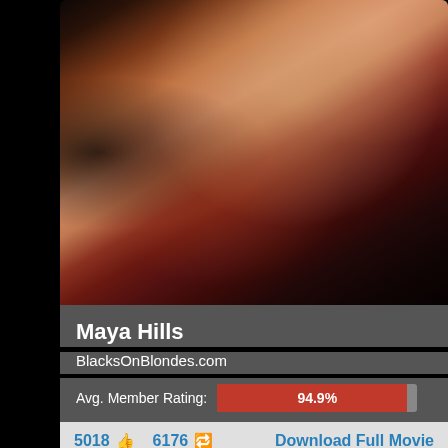[Figure (photo): Adult content photo thumbnail showing persons on red furniture, partial view]
Maya Hills
BlacksOnBlondes.com
Avg. Member Rating: 94.9%
5018 👍  6176 🔄  Download Full Movie
[Figure (photo): Adult content photo thumbnail showing a redhead person, partial view]